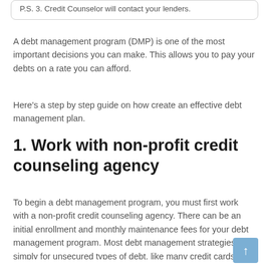P.S. 3. Credit Counselor will contact your lenders.
A debt management program (DMP) is one of the most important decisions you can make. This allows you to pay your debts on a rate you can afford.
Here's a step by step guide on how create an effective debt management plan.
1. Work with non-profit credit counseling agency
To begin a debt management program, you must first work with a non-profit credit counseling agency. There can be an initial enrollment and monthly maintenance fees for your debt management program. Most debt management strategies are simply for unsecured types of debt, like many credit cards.